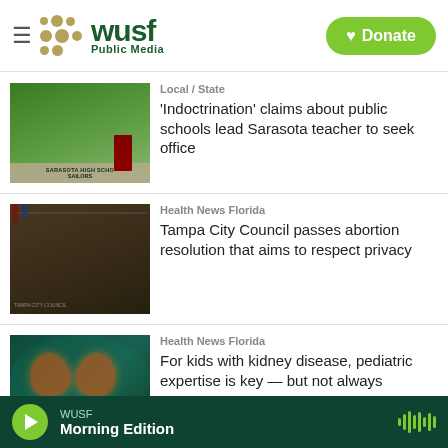WUSF Public Media
[Figure (screenshot): Sarasota High School sign with a man in a maroon polo shirt standing in front of it]
Local / State
'Indoctrination' claims about public schools lead Sarasota teacher to seek office
[Figure (screenshot): Tampa City Council meeting room with officials seated at a curved bench]
Health News Florida
Tampa City Council passes abortion resolution that aims to respect privacy
[Figure (screenshot): Dark teal background with glowing kidney illustration]
Health News Florida
For kids with kidney disease, pediatric expertise is key — but not always
WUSF Morning Edition